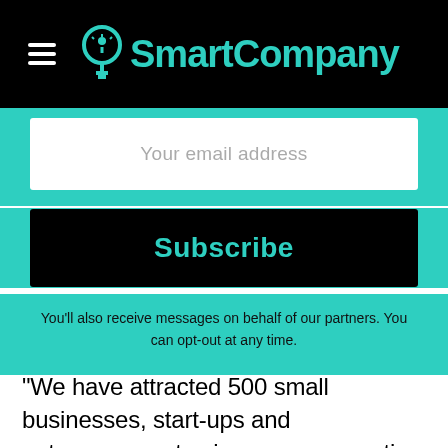SmartCompany
Your email address
Subscribe
You'll also receive messages on behalf of our partners. You can opt-out at any time.
“We have attracted 500 small businesses, start-ups and entrepreneurs to sign up, representing industries from fields as diverse as smartphone design and business coaching,” he said in a blog.